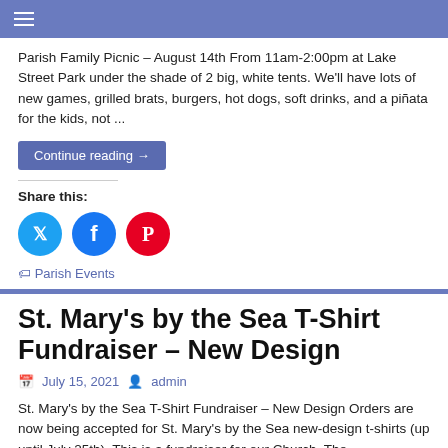Parish Family Picnic – August 14th From 11am-2:00pm at Lake Street Park under the shade of 2 big, white tents. We'll have lots of new games, grilled brats, burgers, hot dogs, soft drinks, and a piñata for the kids, not ...
Continue reading →
Share this:
[Figure (other): Social sharing icons: Twitter (blue circle), Facebook (blue circle), Pinterest (red circle)]
Parish Events
St. Mary's by the Sea T-Shirt Fundraiser – New Design
July 15, 2021   admin
St. Mary's by the Sea T-Shirt Fundraiser – New Design Orders are now being accepted for St. Mary's by the Sea new-design t-shirts (up until July 25th). This is a fundraiser for our Church. The